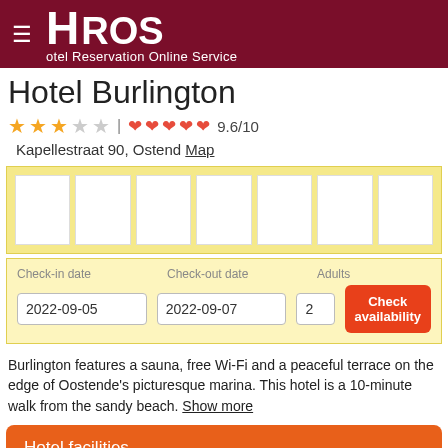HROS Hotel Reservation Online Service
Hotel Burlington
★★★☆☆ | ♥♥♥♥♥ 9.6/10
Kapellestraat 90, Ostend Map
[Figure (photo): Row of 7 hotel photo thumbnails on yellow background]
| Check-in date | Check-out date | Adults |  |
| --- | --- | --- | --- |
| 2022-09-05 | 2022-09-07 | 2 | Check availability |
Burlington features a sauna, free Wi-Fi and a peaceful terrace on the edge of Oostende's picturesque marina. This hotel is a 10-minute walk from the sandy beach. Show more
Hotel facilities
Reviews